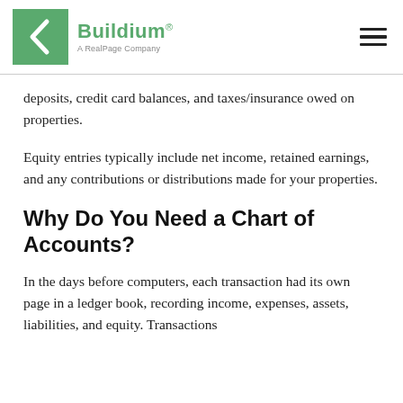Buildium® A RealPage Company
deposits, credit card balances, and taxes/insurance owed on properties.
Equity entries typically include net income, retained earnings, and any contributions or distributions made for your properties.
Why Do You Need a Chart of Accounts?
In the days before computers, each transaction had its own page in a ledger book, recording income, expenses, assets, liabilities, and equity. Transactions